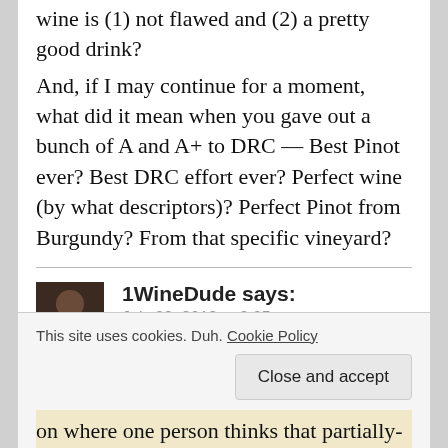wine is (1) not flawed and (2) a pretty good drink?
And, if I may continue for a moment, what did it mean when you gave out a bunch of A and A+ to DRC — Best Pinot ever? Best DRC effort ever? Perfect wine (by what descriptors)? Perfect Pinot from Burgundy? From that specific vineyard?
1WineDude says:
July 23, 2013 at 2:25 pm
Michael – you're hitting the issue with ALL
This site uses cookies. Duh. Cookie Policy
on where one person thinks that partially-